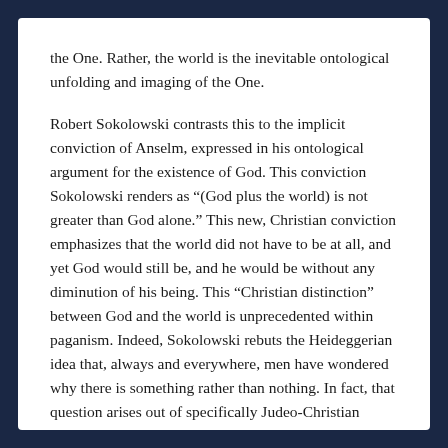the One. Rather, the world is the inevitable ontological unfolding and imaging of the One.
Robert Sokolowski contrasts this to the implicit conviction of Anselm, expressed in his ontological argument for the existence of God. This conviction Sokolowski renders as “(God plus the world) is not greater than God alone.” This new, Christian conviction emphasizes that the world did not have to be at all, and yet God would still be, and he would be without any diminution of his being. This “Christian distinction” between God and the world is unprecedented within paganism. Indeed, Sokolowski rebuts the Heideggerian idea that, always and everywhere, men have wondered why there is something rather than nothing. In fact, that question arises out of specifically Judeo-Christian wonder.